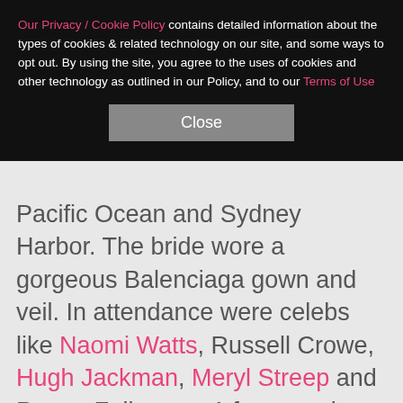Our Privacy / Cookie Policy contains detailed information about the types of cookies & related technology on our site, and some ways to opt out. By using the site, you agree to the uses of cookies and other technology as outlined in our Policy, and to our Terms of Use
Close
Pacific Ocean and Sydney Harbor. The bride wore a gorgeous Balenciaga gown and veil. In attendance were celebs like Naomi Watts, Russell Crowe, Hugh Jackman, Meryl Streep and Renee Zellweger. A few months after the wedding, Keith checked into rehab, and Nicole stood by his side.